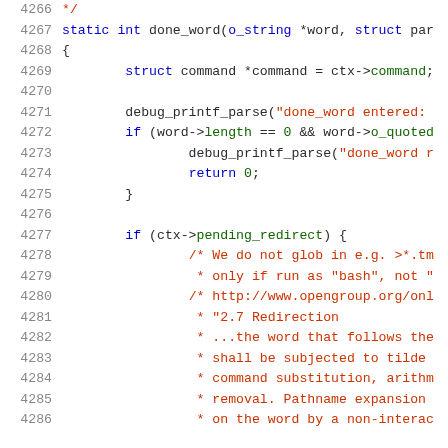Source code listing lines 4266-4286
4266   */
4267   static int done_word(o_string *word, struct par
4268   {
4269           struct command *command = ctx->command;
4270   
4271           debug_printf_parse("done_word entered:
4272           if (word->length == 0 && word->o_quoted
4273                   debug_printf_parse("done_word r
4274                   return 0;
4275           }
4276   
4277           if (ctx->pending_redirect) {
4278                   /* We do not glob in e.g. >*.tm
4279                    * only if run as "bash", not "
4280                   /* http://www.opengroup.org/onl
4281                    * "2.7 Redirection
4282                    * ...the word that follows the
4283                    * shall be subjected to tilde
4284                    * command substitution, arithm
4285                    * removal. Pathname expansion
4286                    * on the word by a non-interac